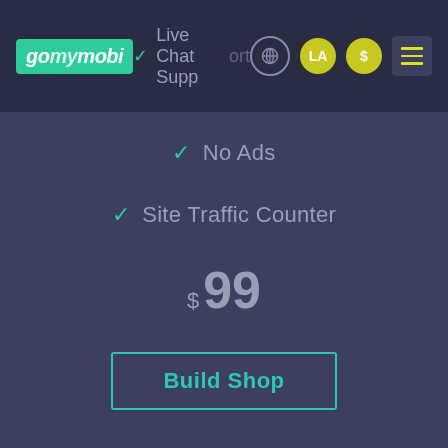gomymobi | Live Chat Support | LA | $ | menu
✓ No Ads
✓ Site Traffic Counter
$99
Build Shop